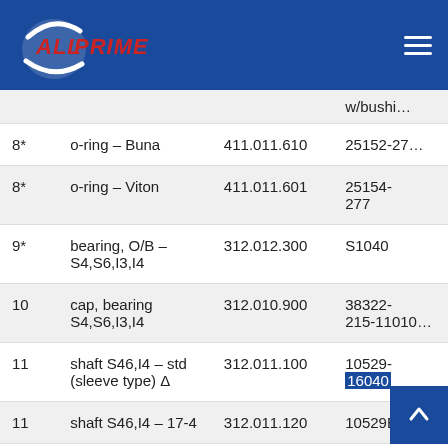AllPrime logo and navigation
| # | Description | Part Number | Reference |
| --- | --- | --- | --- |
|  | w/bushi… |  |  |
| 8* | o-ring – Buna | 411.011.610 | 25152-27… |
| 8* | o-ring – Viton | 411.011.601 | 25154-277 |
| 9* | bearing, O/B – S4,S6,I3,I4 | 312.012.300 | S1040 |
| 10 | cap, bearing S4,S6,I3,I4 | 312.010.900 | 38322-215-11010… |
| 11 | shaft S46,I4 – std (sleeve type) Δ | 312.011.100 | 10529-16040 |
| 11 | shaft S46,I4 – 17-4 | 312.011.120 | 10529B-… |